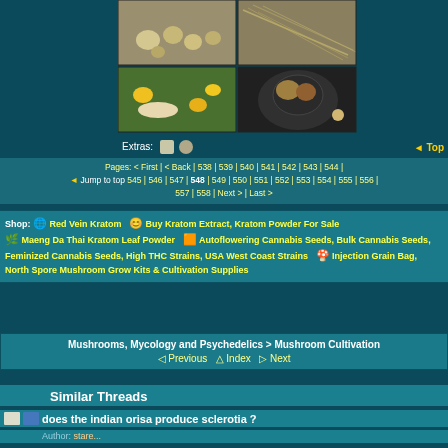[Figure (photo): Grid of four thumbnail photos: mushrooms, dried plant material, hand holding mushroom in flowers, mushrooms on a scale]
Extras:  [icons]   Top
Pages: < First | < Back | 538 | 539 | 540 | 541 | 542 | 543 | 544 | Jump to top 545 | 546 | 547 | 548 | 549 | 550 | 551 | 552 | 553 | 554 | 555 | 556 | 557 | 558 | Next > | Last >
Shop: Red Vein Kratom  Buy Kratom Extract, Kratom Powder For Sale  Maeng Da Thai Kratom Leaf Powder  Autoflowering Cannabis Seeds, Bulk Cannabis Seeds, Feminized Cannabis Seeds, High THC Strains, USA West Coast Strains  Injection Grain Bag, North Spore Mushroom Grow Kits & Cultivation Supplies
Mushrooms, Mycology and Psychedelics > Mushroom Cultivation
Previous  Index  Next
Similar Threads
does the indian orisa produce sclerotia ?
Author: stare...